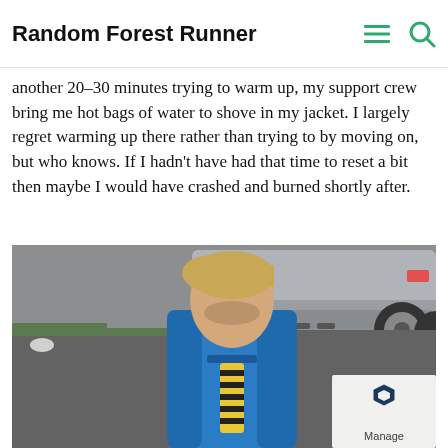Random Forest Runner
woke up with throbbing legs and a shivering, and minutes going – move on – spent another 20-30 minutes trying to warm up, my support crew bring me hot bags of water to shove in my jacket. I largely regret warming up there rather than trying to by moving on, but who knows. If I hadn't have had that time to reset a bit then maybe I would have crashed and burned shortly after.
[Figure (photo): A young man with blonde hair dressed in a blue athletic jacket and yellow/black striped lanyard, looking down, standing in a parking lot with a grey SUV in the background. A Manage badge/logo is overlaid in the bottom right corner.]